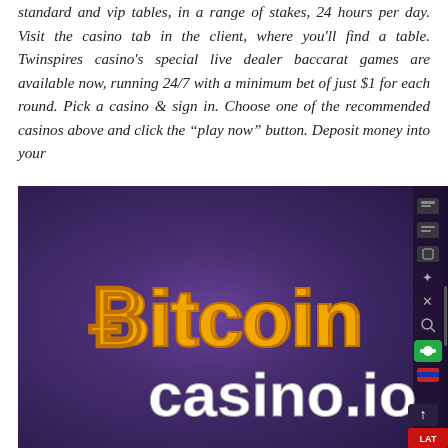standard and vip tables, in a range of stakes, 24 hours per day. Visit the casino tab in the client, where you'll find a table. Twinspires casino's special live dealer baccarat games are available now, running 24/7 with a minimum bet of just $1 for each round. Pick a casino & sign in. Choose one of the recommended casinos above and click the "play now" button. Deposit money into your
[Figure (screenshot): Screenshot of BitcoinCasino.io website interface showing the Bitcoin Casino logo (golden 'Bitcoin' text with a Bitcoin symbol and white 'casino.io' text) on a dark purple gradient background. On the right side there is a vertical toolbar with icons and a green chat button. At the bottom right there is a red banner labeled 'LAT' and an up arrow button.]